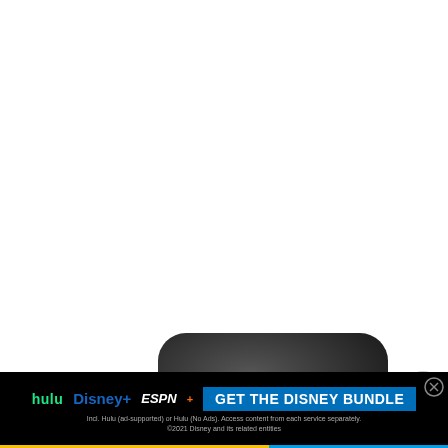Anker PowerCore 10000
[Figure (photo): Anker PowerCore 10000 portable charger, dark gray/black rounded rectangular device with Anker branding visible on top surface]
[Figure (logo): Tether icon/logo on the left side - green/teal arrow/filter icon]
[Figure (logo): Close/X button circle icon on the right side]
[Figure (infographic): Hulu Disney+ ESPN+ GET THE DISNEY BUNDLE advertisement banner at the bottom. Includes logos for Hulu, Disney+, and ESPN+, a blue CTA button reading GET THE DISNEY BUNDLE, fine print text: Incl. Hulu (ad-supported) or Hulu (No Ads). Access content from each service separately. ©2021 Disney and its related entities. Yellow/blue line at the very bottom.]